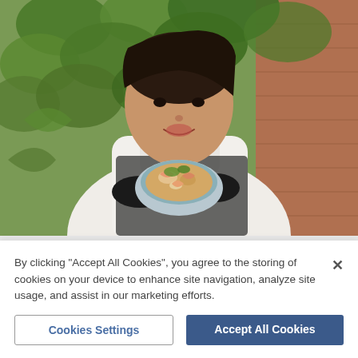[Figure (photo): A woman wearing a white turtleneck sweater and dark apron with black gloves, holding a bowl of Thai food (pad thai with shrimp), standing in front of green ivy leaves against a brick wall background. She is smiling at the camera.]
Jubby Whitehead is a traditional Thai cook offering takeaways in Hadleigh - Credit: Charlotte Bond
By clicking "Accept All Cookies", you agree to the storing of cookies on your device to enhance site navigation, analyze site usage, and assist in our marketing efforts.